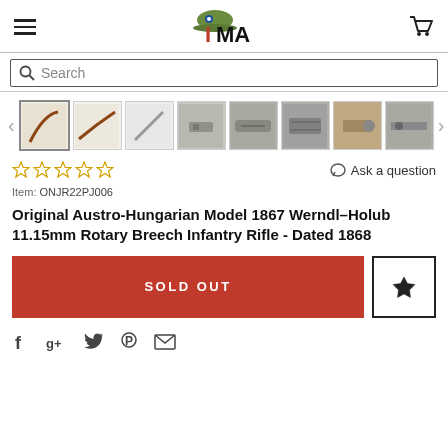IMA — International Military Antiques
[Figure (screenshot): Product thumbnail image carousel showing 8 photos of an Austro-Hungarian Werndl rifle from various angles]
☆☆☆☆☆   Ask a question
Item: ONJR22PJ006
Original Austro-Hungarian Model 1867 Werndl–Holub 11.15mm Rotary Breech Infantry Rifle - Dated 1868
SOLD OUT
Social share icons: Facebook, Google+, Twitter, Pinterest, Email